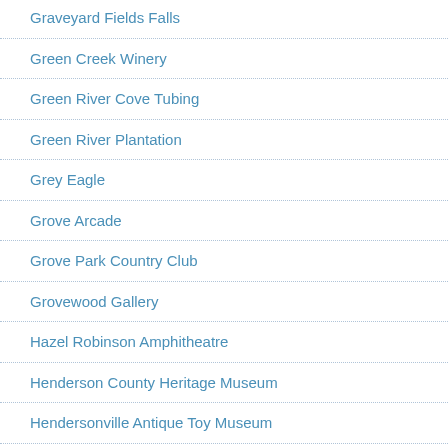Graveyard Fields Falls
Green Creek Winery
Green River Cove Tubing
Green River Plantation
Grey Eagle
Grove Arcade
Grove Park Country Club
Grovewood Gallery
Hazel Robinson Amphitheatre
Henderson County Heritage Museum
Hendersonville Antique Toy Museum
Hendersonville Little Theatre
Hickory Nut Gap Farm